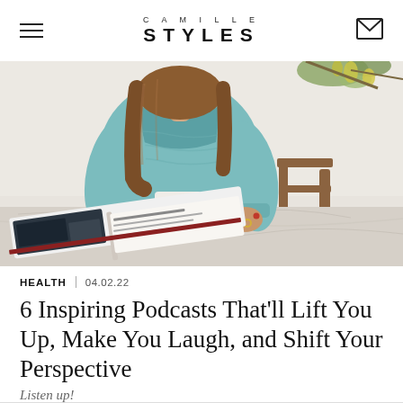CAMILLE STYLES
[Figure (photo): Woman in teal/turquoise knit sweater sitting at a marble table holding a speckled mug, with an open magazine/book on the table in front of her and a plant with yellow-green fruits in the background]
HEALTH | 04.02.22
6 Inspiring Podcasts That'll Lift You Up, Make You Laugh, and Shift Your Perspective
Listen up!